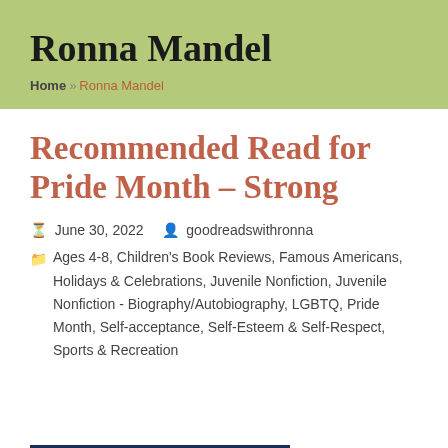Ronna Mandel
Home » Ronna Mandel
Recommended Read for Pride Month – Strong
June 30, 2022   goodreadswithronna
Ages 4-8, Children's Book Reviews, Famous Americans, Holidays & Celebrations, Juvenile Nonfiction, Juvenile Nonfiction - Biography/Autobiography, LGBTQ, Pride Month, Self-acceptance, Self-Esteem & Self-Respect, Sports & Recreation